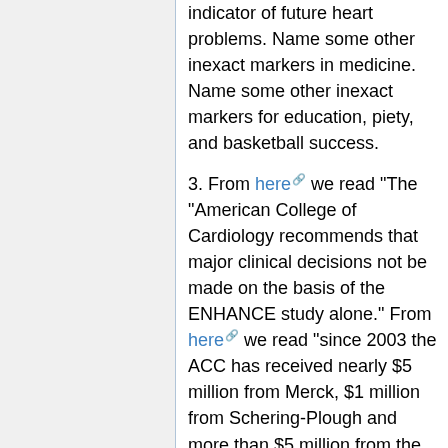indicator of future heart problems. Name some other inexact markers in medicine. Name some other inexact markers for education, piety, and basketball success.
3. From here [link] we read "The "American College of Cardiology recommends that major clinical decisions not be made on the basis of the ENHANCE study alone." From here [link] we read "since 2003 the ACC has received nearly $5 million from Merck, $1 million from Schering-Plough and more than $5 million from the companies'"